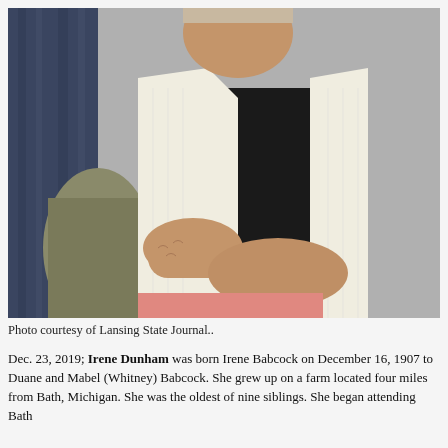[Figure (photo): Elderly woman seated in a chair with arms folded, wearing a black top and white knit vest, with pink pants. Photo is taken from mid-body up, head slightly visible at top. Background shows curtains on left side and a gray wall.]
Photo courtesy of Lansing State Journal..
Dec. 23, 2019; Irene Dunham was born Irene Babcock on December 16, 1907 to Duane and Mabel (Whitney) Babcock. She grew up on a farm located four miles from Bath, Michigan. She was the oldest of nine siblings. She began attending Bath